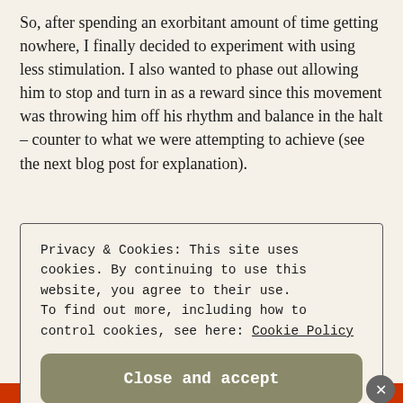So, after spending an exorbitant amount of time getting nowhere, I finally decided to experiment with using less stimulation. I also wanted to phase out allowing him to stop and turn in as a reward since this movement was throwing him off his rhythm and balance in the halt – counter to what we were attempting to achieve (see the next blog post for explanation).
Privacy & Cookies: This site uses cookies. By continuing to use this website, you agree to their use. To find out more, including how to control cookies, see here: Cookie Policy
Close and accept